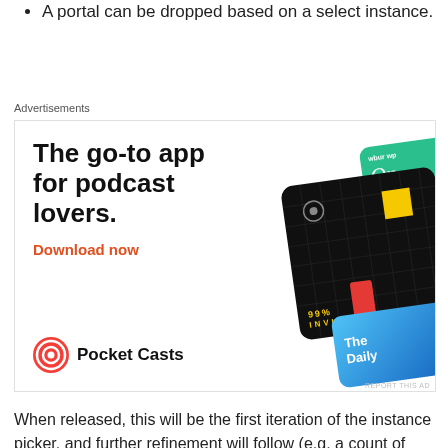A portal can be dropped based on a select instance.
Advertisements
[Figure (illustration): Pocket Casts app advertisement. Headline: 'The go-to app for podcast lovers.' with 'Download now' in red, Pocket Casts logo, and podcast cover art cards including 99% Invisible, The Daily, and others.]
When released, this will be the first iteration of the instance picker, and further refinement will follow (e.g. a count of avatars in each instance. potentially see which instance(s) of a an event friends are already in (and then